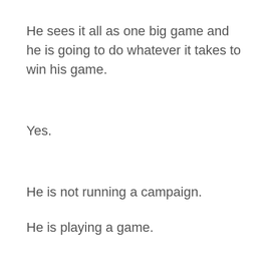He sees it all as one big game and he is going to do whatever it takes to win his game.
Yes.
He is not running a campaign.
He is playing a game.